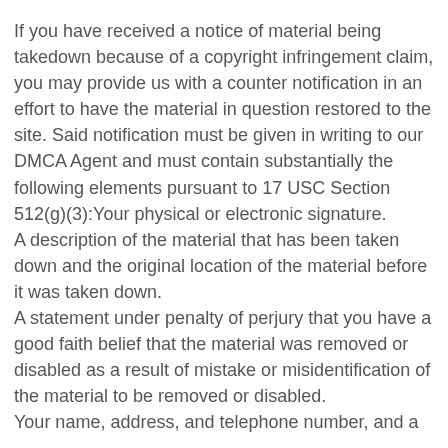If you have received a notice of material being takedown because of a copyright infringement claim, you may provide us with a counter notification in an effort to have the material in question restored to the site. Said notification must be given in writing to our DMCA Agent and must contain substantially the following elements pursuant to 17 USC Section 512(g)(3):Your physical or electronic signature.
A description of the material that has been taken down and the original location of the material before it was taken down.
A statement under penalty of perjury that you have a good faith belief that the material was removed or disabled as a result of mistake or misidentification of the material to be removed or disabled.
Your name, address, and telephone number, and a